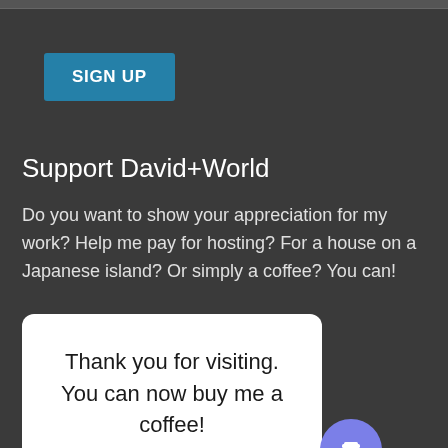[Figure (other): SIGN UP button — teal/blue rectangular button with white bold text]
Support David+World
Do you want to show your appreciation for my work? Help me pay for hosting? For a house on a Japanese island? Or simply a coffee? You can!
Thank you for visiting. You can now buy me a coffee!
[Figure (illustration): Purple circular button with a coffee cup icon]